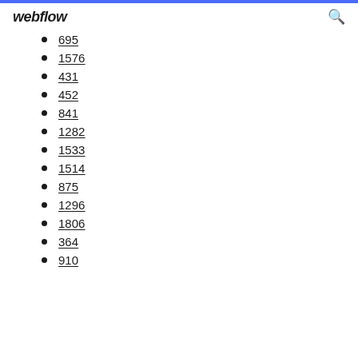webflow
695
1576
431
452
841
1282
1533
1514
875
1296
1806
364
910